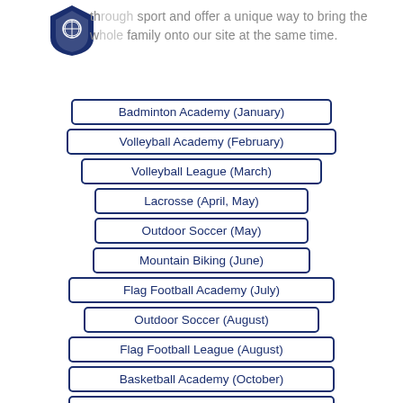through sport and offer a unique way to bring the whole family onto our site at the same time.
Badminton Academy (January)
Volleyball Academy (February)
Volleyball League (March)
Lacrosse (April, May)
Outdoor Soccer (May)
Mountain Biking (June)
Flag Football Academy (July)
Outdoor Soccer (August)
Flag Football League (August)
Basketball Academy (October)
Basketball League (November)